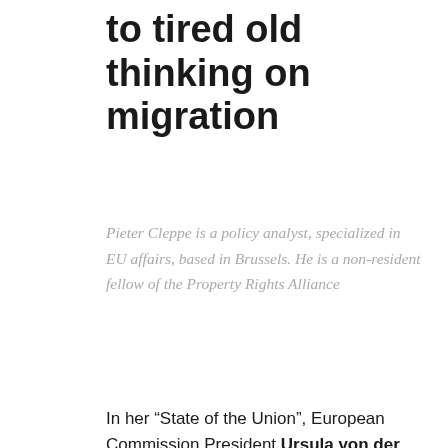to tired old thinking on migration
Pieter Cleppe is a policy analyst, specialized in EU affairs, based in Brussels. He is a non-resident fellow of the Property Rights Alliance
In her “State of the Union”, European Commission President Ursula von der Leyen announced that the EU’s long-awaited “new pact” on migration and asylum will be unveiled on Wednesday